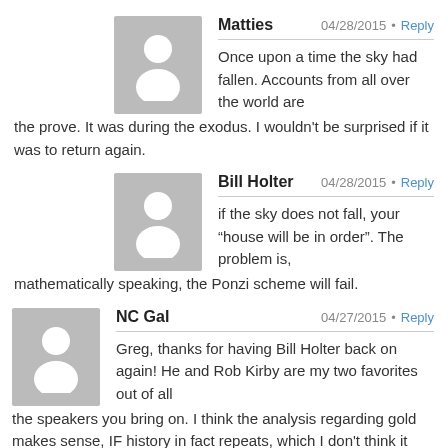Matties 04/28/2015 Reply
Once upon a time the sky had fallen. Accounts from all over the world are the prove. It was during the exodus. I wouldn't be surprised if it was to return again.
Bill Holter 04/28/2015 Reply
if the sky does not fall, your “house will be in order”. The problem is, mathematically speaking, the Ponzi scheme will fail.
NC Gal 04/27/2015 Reply
Greg, thanks for having Bill Holter back on again! He and Rob Kirby are my two favorites out of all the speakers you bring on. I think the analysis regarding gold makes sense, IF history in fact repeats, which I don't think it will.